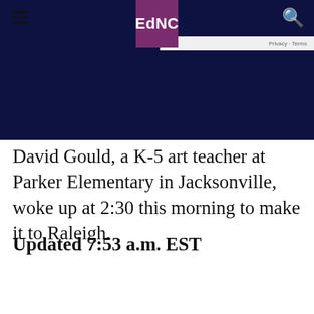EdNC
[Figure (photo): Dark navy blue image area with EdNC logo header overlaid on top]
David Gould, a K-5 art teacher at Parker Elementary in Jacksonville, woke up at 2:30 this morning to make it to Raleigh.
Updated 7:53 a.m. EST